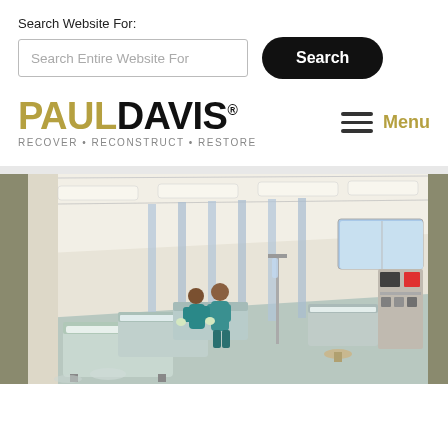Search Website For:
Search Entire Website For
Search
[Figure (logo): Paul Davis logo with tagline RECOVER • RECONSTRUCT • RESTORE]
Menu
[Figure (photo): Hospital emergency room interior with medical beds, privacy curtains, and nurses working in a large open bay area with bright fluorescent lighting.]